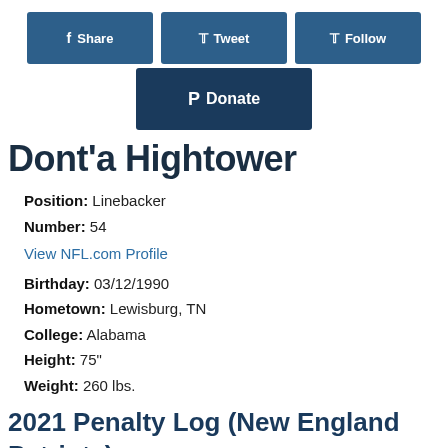[Figure (screenshot): Social media share/tweet/follow buttons and a PayPal donate button]
Dont'a Hightower
Position: Linebacker
Number: 54
View NFL.com Profile
Birthday: 03/12/1990
Hometown: Lewisburg, TN
College: Alabama
Height: 75"
Weight: 260 lbs.
2021 Penalty Log (New England Patriots)
Scroll left and right for additional columns.